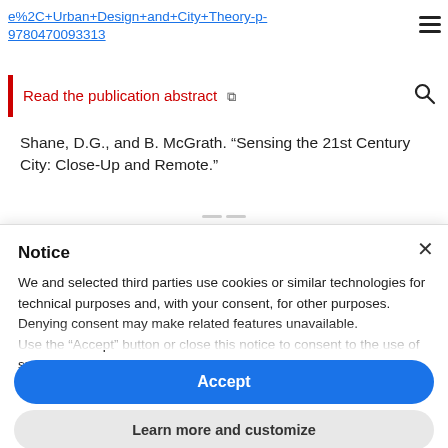e%2C+Urban+Design+and+City+Theory-p-9780470093313
Read the publication abstract
Shane, D.G., and B. McGrath. “Sensing the 21st Century City: Close-Up and Remote.”
Notice
We and selected third parties use cookies or similar technologies for technical purposes and, with your consent, for other purposes. Denying consent may make related features unavailable.
Use the “Accept” button or close this notice to consent to the use of such technologies.
Accept
Learn more and customize